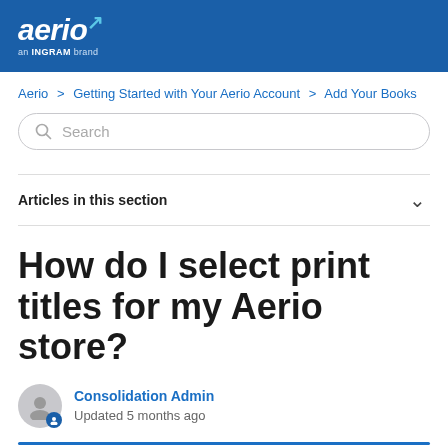aerio – an INGRAM brand
Aerio > Getting Started with Your Aerio Account > Add Your Books
Search
Articles in this section
How do I select print titles for my Aerio store?
Consolidation Admin
Updated 5 months ago